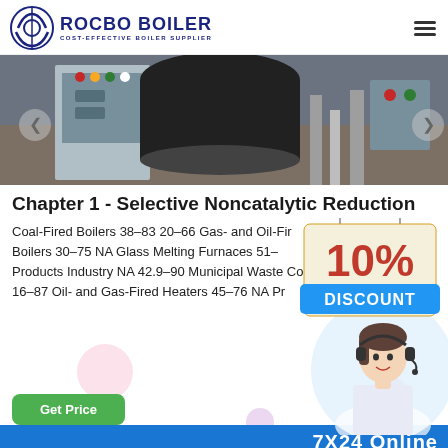ROCBO BOILER - COST-EFFECTIVE BOILER SUPPLIER
[Figure (photo): Industrial boiler equipment and control panel in a factory/facility setting]
Chapter 1 - Selective Noncatalytic Reduction
Coal-Fired Boilers 38–83 20–66 Gas- and Oil-Fired Boilers 30–75 NA Glass Melting Furnaces 51– Products Industry NA 42.9–90 Municipal Waste Combustors –70 16–87 Oil- and Gas-Fired Heaters 45–76 NA Pr
[Figure (infographic): 10% DISCOUNT promotional badge/sign]
[Figure (photo): Customer support representative woman with headset smiling]
7X24 Online